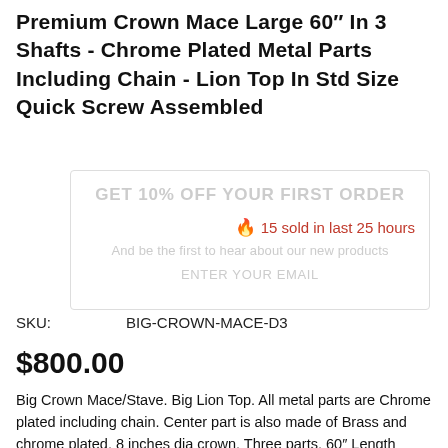Premium Crown Mace Large 60″ In 3 Shafts - Chrome Plated Metal Parts Including Chain - Lion Top In Std Size Quick Screw Assembled
🔥 15 sold in last 25 hours
SKU:    BIG-CROWN-MACE-D3
$800.00
Big Crown Mace/Stave. Big Lion Top. All metal parts are Chrome plated including chain. Center part is also made of Brass and chrome plated. 8 inches dia crown. Three parts, 60″ Length when assembled by screwing them up in 2 minutes. We can inscribe your name or whatever you want...
Quantity: